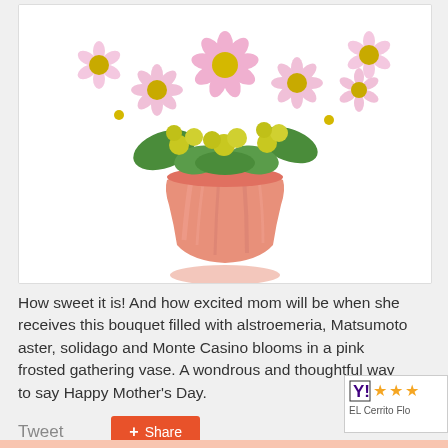[Figure (photo): A bouquet of pink alstroemeria, Matsumoto asters, white and yellow solidago, and Monte Casino blooms arranged in a pink frosted gathering vase, photographed from above on a white background.]
How sweet it is! And how excited mom will be when she receives this bouquet filled with alstroemeria, Matsumoto aster, solidago and Monte Casino blooms in a pink frosted gathering vase. A wondrous and thoughtful way to say Happy Mother's Day.
[Figure (other): Rating widget showing a Y! logo followed by 3 orange stars and the text 'EL Cerrito Flo']
Tweet
Share